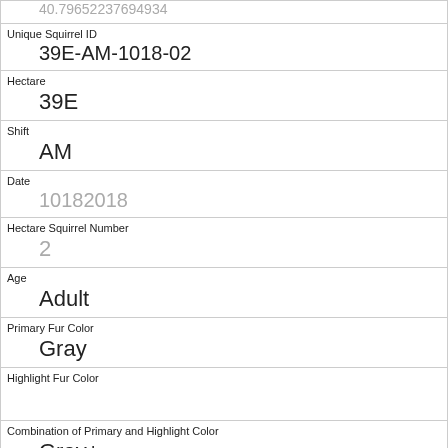| 40.79652237694934 (partial) |
| Unique Squirrel ID | 39E-AM-1018-02 |
| Hectare | 39E |
| Shift | AM |
| Date | 10182018 |
| Hectare Squirrel Number | 2 |
| Age | Adult |
| Primary Fur Color | Gray |
| Highlight Fur Color |  |
| Combination of Primary and Highlight Color | Gray+ |
| Color notes |  |